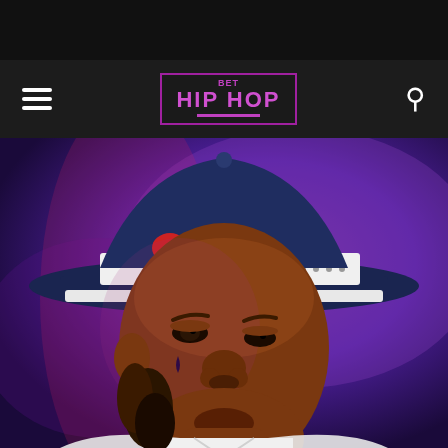[Figure (photo): Dark black bar at top of page, website header area]
BET HIP HOP
[Figure (photo): Close-up photo of a young Black man wearing a navy blue snapback cap with a white brim interior, a white headband with dots, and a white t-shirt. He has a teardrop tattoo under his left eye and a small diamond stud earring. The background is purple/blue stage lighting. He is looking slightly upward and to the right. The bottom portion shows his chest/shirt area.]